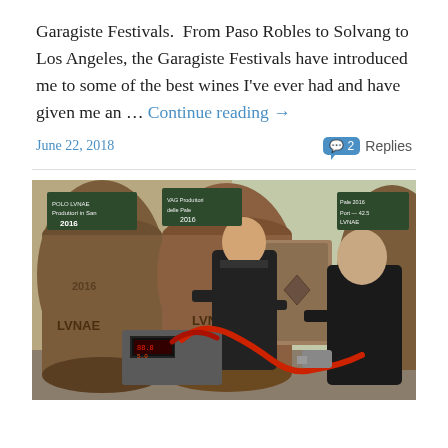Garagiste Festivals.  From Paso Robles to Solvang to Los Angeles, the Garagiste Festivals have introduced me to some of the best wines I've ever had and have given me an … Continue reading →
June 22, 2018
2 Replies
[Figure (photo): Two men working with wine barrel equipment inside a winery. Large wooden barrels with '2016' and 'LVNAE' inscriptions are visible in the background. The men are dressed in black and appear to be operating wine bottling or pumping equipment.]